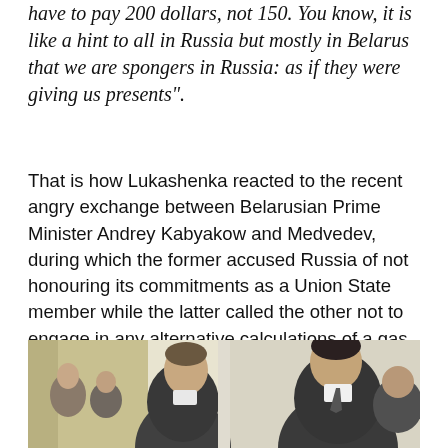have to pay 200 dollars, not 150. You know, it is like a hint to all in Russia but mostly in Belarus that we are spongers in Russia: as if they were giving us presents".
That is how Lukashenka reacted to the recent angry exchange between Belarusian Prime Minister Andrey Kabyakow and Medvedev, during which the former accused Russia of not honouring its commitments as a Union State member while the latter called the other not to engage in any alternative calculations of a gas price. As if to say that if not for bilateral integration, Belarus would have paid more and, after all, no-one makes you stay in various unions.
[Figure (photo): Two men in suits facing each other in conversation, with other people visible in the background. The setting appears to be an indoor official or governmental environment.]